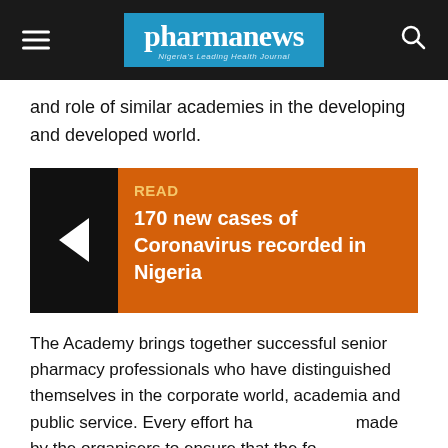pharmanews — Nigeria's Leading Health Journal
and role of similar academies in the developing and developed world.
[Figure (infographic): Orange and black READ box with left-pointing arrow and link title '170 new cases of Coronavirus recorded in Nigeria']
The Academy brings together successful senior pharmacy professionals who have distinguished themselves in the corporate world, academia and public service. Every effort has been made by the organisers to ensure that the founding members are drawn from the widest possible spread professionally, occupationally and